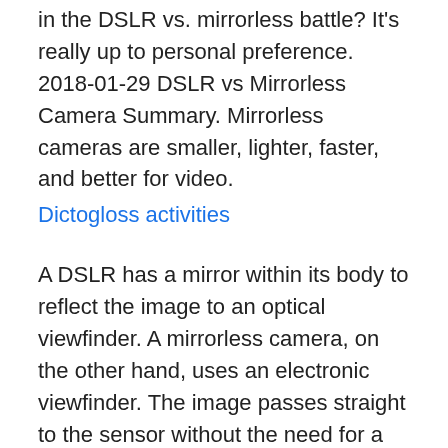in the DSLR vs. mirrorless battle? It's really up to personal preference. 2018-01-29 DSLR vs Mirrorless Camera Summary. Mirrorless cameras are smaller, lighter, faster, and better for video.
Dictogloss activities
A DSLR has a mirror within its body to reflect the image to an optical viewfinder. A mirrorless camera, on the other hand, uses an electronic viewfinder. The image passes straight to the sensor without the need for a flip-up mirror. 2021-04-13 · DSLR vs. mirrorless: Size & weight DSLR camera bodies are comparatively larger, as they need to fit in a mirror and optical viewfinder mechanism.
Mirrorless leads the game when it comes to size and weight. … Our EOS range of DSLR cameras